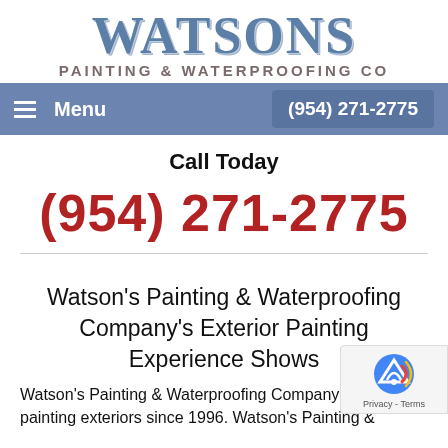[Figure (logo): Watsons Painting & Waterproofing Co logo with stylized blue lettering]
Menu   (954) 271-2775
Call Today
(954) 271-2775
Watson's Painting & Waterproofing Company's Exterior Painting Experience Shows
Watson's Painting & Waterproofing Company has b... painting exteriors since 1996. Watson's Painting &